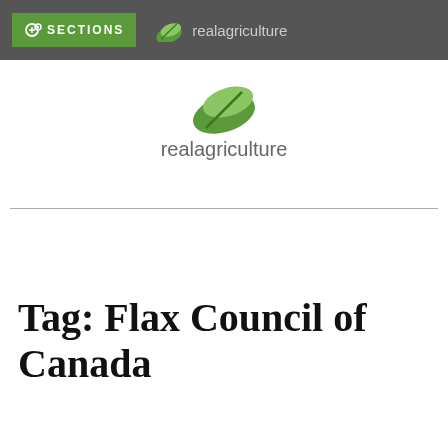SECTIONS | realagriculture
[Figure (logo): RealAgriculture logo: green leaf icon above the text 'realagriculture' in gray]
Tag: Flax Council of Canada